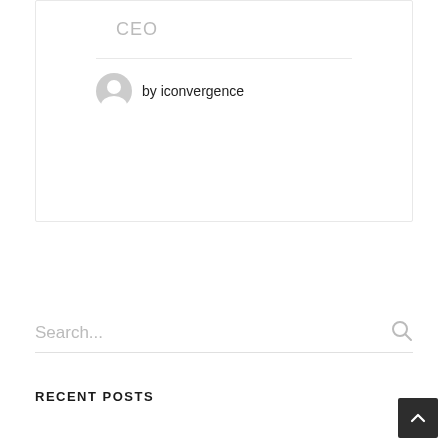CEO
by iconvergence
Search...
RECENT POSTS
[Figure (illustration): Scroll-to-top button, dark square with upward chevron]